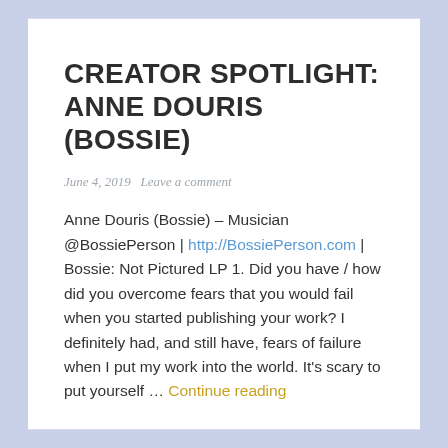CREATOR SPOTLIGHT: ANNE DOURIS (BOSSIE)
June 4, 2019   Leave a comment
Anne Douris (Bossie) – Musician @BossiePerson | http://BossiePerson.com | Bossie: Not Pictured LP 1. Did you have / how did you overcome fears that you would fail when you started publishing your work? I definitely had, and still have, fears of failure when I put my work into the world. It's scary to put yourself … Continue reading